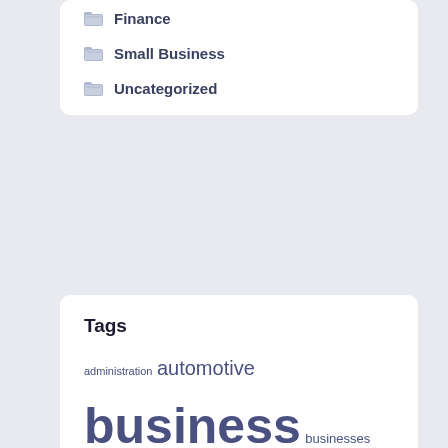Finance
Small Business
Uncategorized
Tags
administration automotive business businesses college companies company definition department division education enterprise estate faculty fashion finance financial google health house ideas improvement india indonesia information institute international journal latest leisure market marketing medical ministry monetary newest online school small steps strategy technology travel whats write